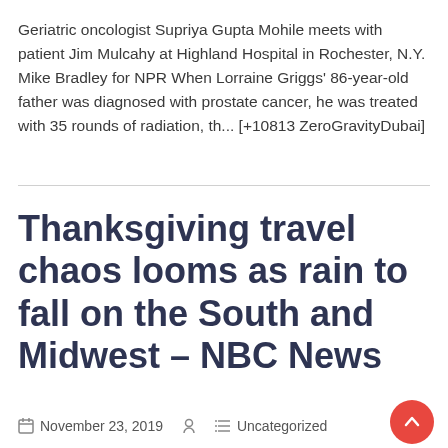Geriatric oncologist Supriya Gupta Mohile meets with patient Jim Mulcahy at Highland Hospital in Rochester, N.Y. Mike Bradley for NPR When Lorraine Griggs' 86-year-old father was diagnosed with prostate cancer, he was treated with 35 rounds of radiation, th... [+10813 ZeroGravityDubai]
Thanksgiving travel chaos looms as rain to fall on the South and Midwest – NBC News
November 23, 2019   Uncategorized